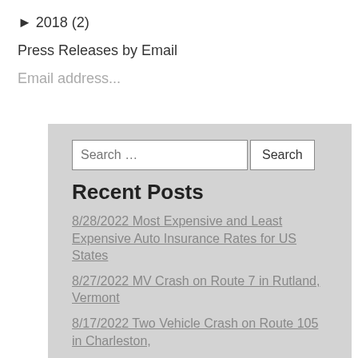▶ 2018 (2)
Press Releases by Email
Email address...
Recent Posts
8/28/2022 Most Expensive and Least Expensive Auto Insurance Rates for US States
8/27/2022 MV Crash on Route 7 in Rutland, Vermont
8/17/2022 Two Vehicle Crash on Route 105 in Charleston,